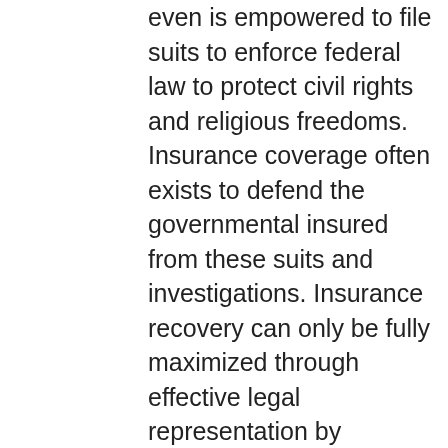even is empowered to file suits to enforce federal law to protect civil rights and religious freedoms. Insurance coverage often exists to defend the governmental insured from these suits and investigations. Insurance recovery can only be fully maximized through effective legal representation by attorneys such as Mr. Faul who has won several significant victories for his government clients faced with the prospect of insurance companies seeking to deny, delay or severely limit insurance benefits paid for by the governmental agency.

Insurance to defend these lawsuits and pay what could be millions of dollars in damage awards is often available but only if